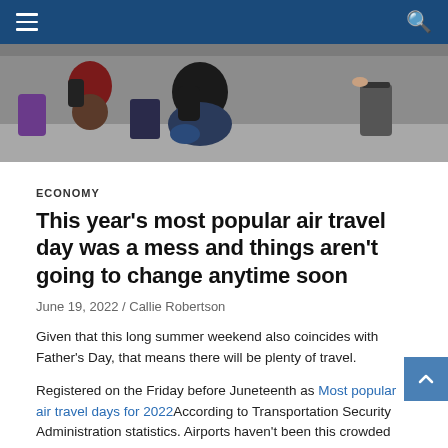Navigation bar with hamburger menu and search icon
[Figure (photo): Airport scene showing travelers with luggage and backpacks waiting in a terminal]
ECONOMY
This year’s most popular air travel day was a mess and things aren’t going to change anytime soon
June 19, 2022 / Callie Robertson
Given that this long summer weekend also coincides with Father’s Day, that means there will be plenty of travel.
Registered on the Friday before Juneteenth as Most popular air travel days for 2022According to Transportation Security Administration statistics. Airports haven’t been this crowded